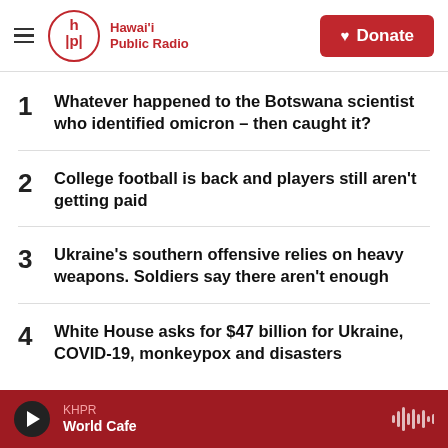Hawai'i Public Radio — Donate
1 Whatever happened to the Botswana scientist who identified omicron – then caught it?
2 College football is back and players still aren't getting paid
3 Ukraine's southern offensive relies on heavy weapons. Soldiers say there aren't enough
4 White House asks for $47 billion for Ukraine, COVID-19, monkeypox and disasters
KHPR World Cafe